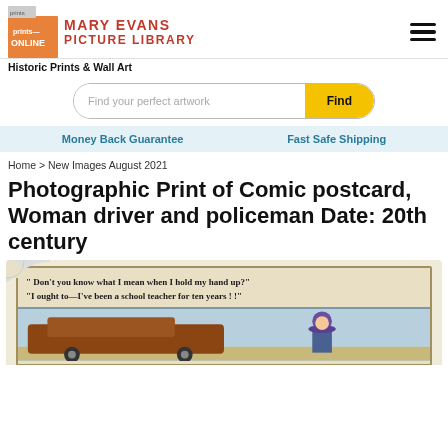prints ONLINE | MARY EVANS PICTURE LIBRARY | Historic Prints & Wall Art
[Figure (screenshot): Search bar with placeholder 'Find your perfect artwork' and yellow 'Find' button]
Money Back Guarantee   Fast Safe Shipping
Home > New Images August 2021
Photographic Print of Comic postcard, Woman driver and policeman Date: 20th century
[Figure (photo): Comic postcard illustration showing a woman driver and policeman. Text reads: 'Don't you know what I mean when I hold my hand up?' 'I ought to—I've been a school teacher for ten years!!']